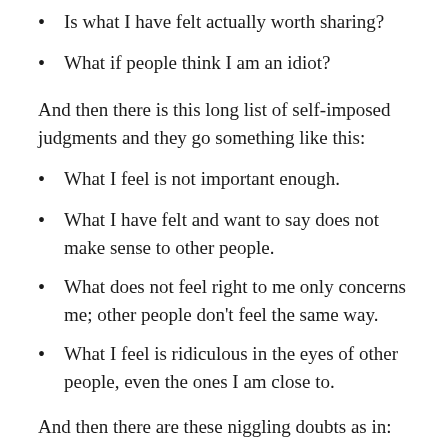Is what I have felt actually worth sharing?
What if people think I am an idiot?
And then there is this long list of self-imposed judgments and they go something like this:
What I feel is not important enough.
What I have felt and want to say does not make sense to other people.
What does not feel right to me only concerns me; other people don’t feel the same way.
What I feel is ridiculous in the eyes of other people, even the ones I am close to.
And then there are these niggling doubts as in:
What I feel is too embarrassing to express, it